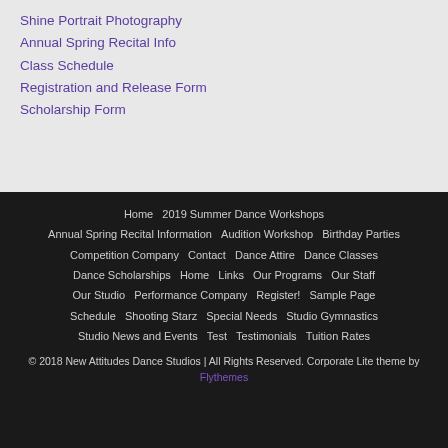Shine Portrait Photography
Annual Spring Recital Info
Class Schedule
Registration and Release Form
Scholarship Form
Home  2019 Summer Dance Workshops  Annual Spring Recital Information  Audition Workshop  Birthday Parties  Competition Company  Contact  Dance Attire  Dance Classes  Dance Scholarships  Home  Links  Our Programs  Our Staff  Our Studio  Performance Company  Register!  Sample Page  Schedule  Shooting Starz  Special Needs  Studio Gymnastics  Studio News and Events  Test  Testimonials  Tuition Rates
© 2018 New Attitudes Dance Studios | All Rights Reserved. Corporate Lite theme by Flythemes